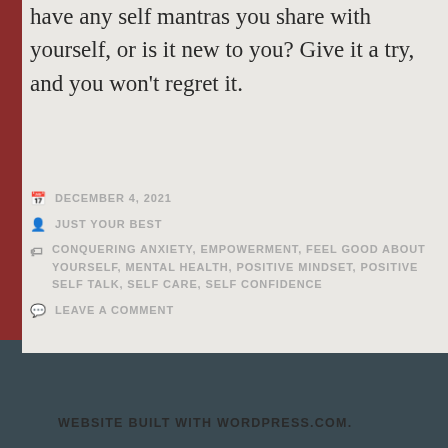have any self mantras you share with yourself, or is it new to you? Give it a try, and you won't regret it.
DECEMBER 4, 2021
JUST YOUR BEST
CONQUERING ANXIETY, EMPOWERMENT, FEEL GOOD ABOUT YOURSELF, MENTAL HEALTH, POSITIVE MINDSET, POSITIVE SELF TALK, SELF CARE, SELF CONFIDENCE
LEAVE A COMMENT
WEBSITE BUILT WITH WORDPRESS.COM.